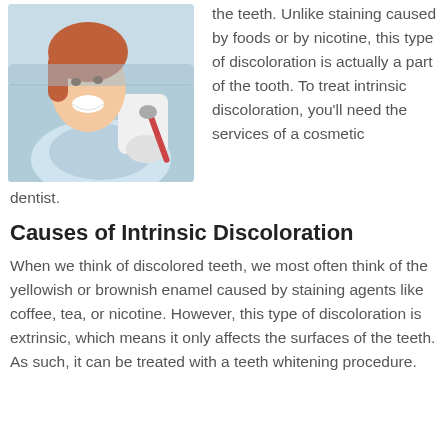[Figure (photo): A smiling woman patient at a dental office, wearing a dental bib, with a dentist holding a dental mirror nearby]
the teeth. Unlike staining caused by foods or by nicotine, this type of discoloration is actually a part of the tooth. To treat intrinsic discoloration, you'll need the services of a cosmetic dentist.
Causes of Intrinsic Discoloration
When we think of discolored teeth, we most often think of the yellowish or brownish enamel caused by staining agents like coffee, tea, or nicotine. However, this type of discoloration is extrinsic, which means it only affects the surfaces of the teeth. As such, it can be treated with a teeth whitening procedure.